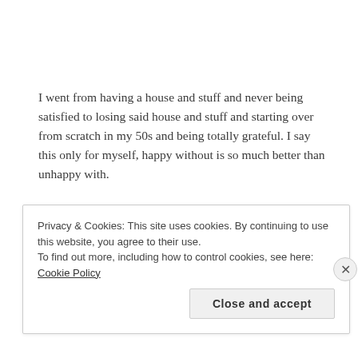I went from having a house and stuff and never being satisfied to losing said house and stuff and starting over from scratch in my 50s and being totally grateful. I say this only for myself, happy without is so much better than unhappy with.
I'm still going to try to save a little bit more but for now I'm doing my best. I can't do more than that. Be grateful today…it changes your perspective. I pray for all of us living on the edge without a safety net. My you all have comfort today.
Privacy & Cookies: This site uses cookies. By continuing to use this website, you agree to their use. To find out more, including how to control cookies, see here: Cookie Policy
Close and accept